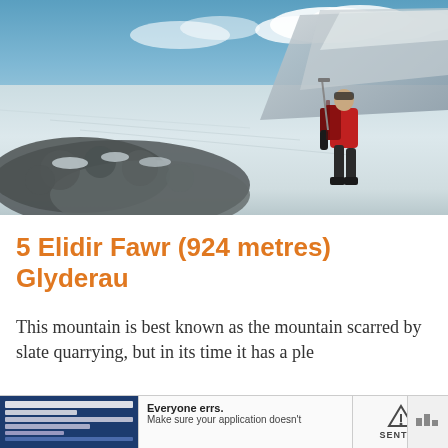[Figure (photo): A hiker in a red jacket and backpack walking across a snow-covered mountain plateau. Rocky terrain with snow and ice is visible on the left side, and a dramatic cliff face appears on the right background. The sky has scattered clouds.]
5 Elidir Fawr (924 metres) Glyderau
This mountain is best known as the mountain scarred by slate quarrying, but in its time it was a mountain with a ple...